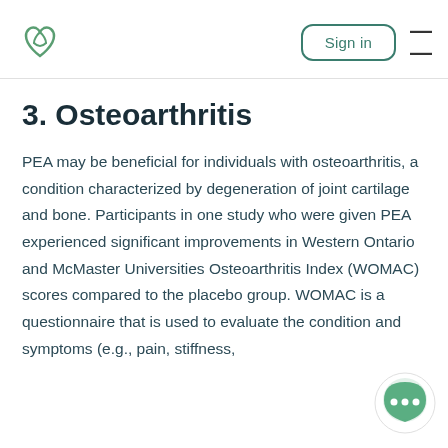Sign in
3. Osteoarthritis
PEA may be beneficial for individuals with osteoarthritis, a condition characterized by degeneration of joint cartilage and bone. Participants in one study who were given PEA experienced significant improvements in Western Ontario and McMaster Universities Osteoarthritis Index (WOMAC) scores compared to the placebo group. WOMAC is a questionnaire that is used to evaluate the condition and symptoms (e.g., pain, stiffness,